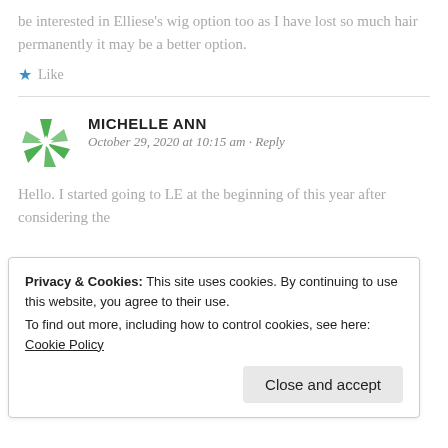be interested in Elliese's wig option too as I have lost so much hair permanently it may be a better option.
★ Like
MICHELLE ANN
October 29, 2020 at 10:15 am · Reply
Hello. I started going to LE at the beginning of this year after considering the
Privacy & Cookies: This site uses cookies. By continuing to use this website, you agree to their use.
To find out more, including how to control cookies, see here: Cookie Policy
Close and accept